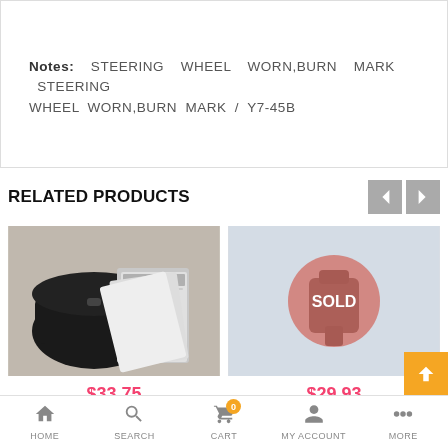Notes: STEERING WHEEL WORN,BURN MARK STEERING WHEEL WORN,BURN MARK / Y7-45B
RELATED PRODUCTS
[Figure (photo): Black pouch/wallet and car manual booklets on a light surface]
$33.75
[Figure (photo): Small car part (clip/fastener) on light blue background with SOLD overlay circle]
$29.93
00 01 02 03 04 2004 VOLV S40 FRONT RIGHT WINDC
HOME   SEARCH   CART   MY ACCOUNT   MORE